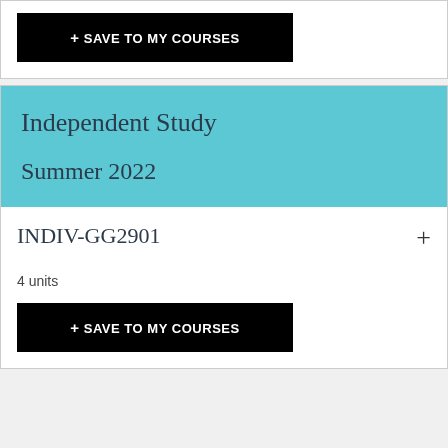+ SAVE TO MY COURSES
Independent Study
Summer 2022
INDIV-GG2901
4 units
+ SAVE TO MY COURSES